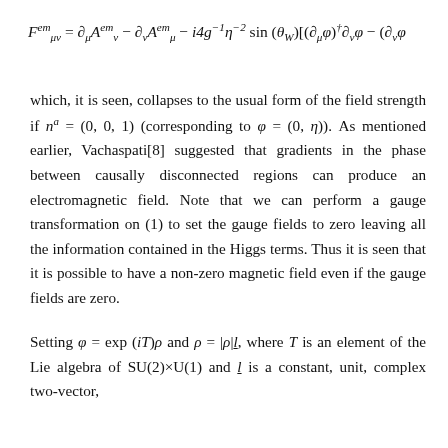which, it is seen, collapses to the usual form of the field strength if n^a = (0,0,1) (corresponding to phi = (0,eta)). As mentioned earlier, Vachaspati[8] suggested that gradients in the phase between causally disconnected regions can produce an electromagnetic field. Note that we can perform a gauge transformation on (1) to set the gauge fields to zero leaving all the information contained in the Higgs terms. Thus it is seen that it is possible to have a non-zero magnetic field even if the gauge fields are zero.
Setting phi = exp(iT)rho and rho = |rho|l, where T is an element of the Lie algebra of SU(2)xU(1) and l is a constant, unit, complex two-vector,